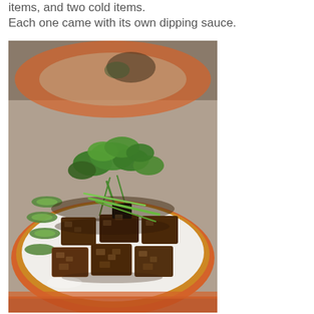items, and two cold items. Each one came with its own dipping sauce.
[Figure (photo): A plate of dark brown gelatinous food cubes (likely pork aspic or similar Chinese cold dish) garnished with sliced cucumbers and fresh cilantro/herbs on an orange and white decorative plate. Another orange plate with food is visible blurred in the background.]